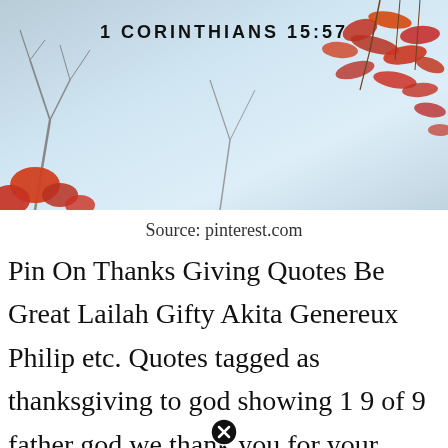[Figure (photo): Autumn/fall nature banner with bare tree branches against a light blue-grey sky and reddish-orange autumn leaves, with text '1 CORINTHIANS 15:57' overlaid at the top center]
Source: pinterest.com
Pin On Thanks Giving Quotes Be Great Lailah Gifty Akita Genereux Philip etc. Quotes tagged as thanksgiving to god showing 1 9 of 9 father god we thank you for your grace and your mercy for allowing us to be together under your covenant and god